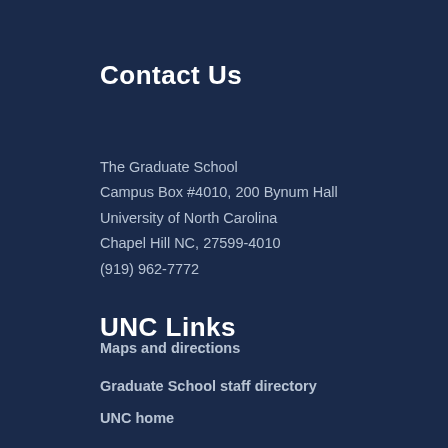Contact Us
The Graduate School
Campus Box #4010, 200 Bynum Hall
University of North Carolina
Chapel Hill NC, 27599-4010
(919) 962-7772
Maps and directions
Graduate School staff directory
UNC Links
UNC home